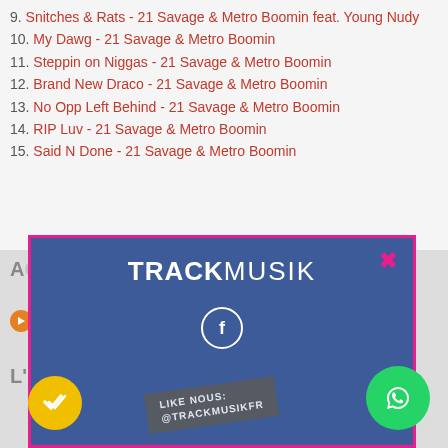9. Snitches & Rats - 21 Savage & Metro Boomin feat. Young Nudy
10. My Dawg - 21 Savage & Metro Boomin
11. Steppin on Niggas - 21 Savage & Metro Boomin
12. Brand New Draco - 21 Savage & Metro Boomin
13. No Opp Left Behind - 21 Savage & Metro Boomin
14. RIP Luv - 21 Savage & Metro Boomin
15. Said N Done - 21 Savage & Metro Boomin
[Figure (screenshot): TRACKmusik Facebook popup modal with logo, close button (x), Facebook circle icon, and 'LIKE NOUS: @TrackmusikFr' label on blue background with pink border]